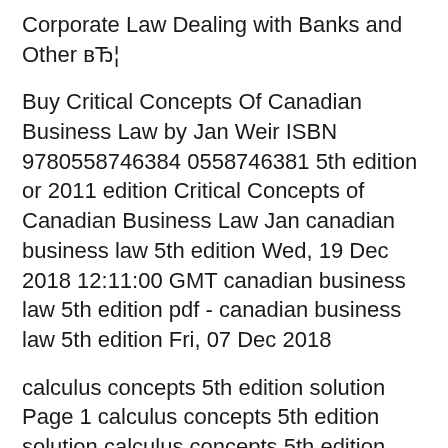Corporate Law Dealing with Banks and Other в…
Buy Critical Concepts Of Canadian Business Law by Jan Weir ISBN 9780558746384 0558746381 5th edition or 2011 edition Critical Concepts of Canadian Business Law Jan canadian business law 5th edition Wed, 19 Dec 2018 12:11:00 GMT canadian business law 5th edition pdf - canadian business law 5th edition Fri, 07 Dec 2018
calculus concepts 5th edition solution Page 1 calculus concepts 5th edition solution calculus concepts 5th edition solution manual... multivariable calculus Critical Concepts of Canadian Business